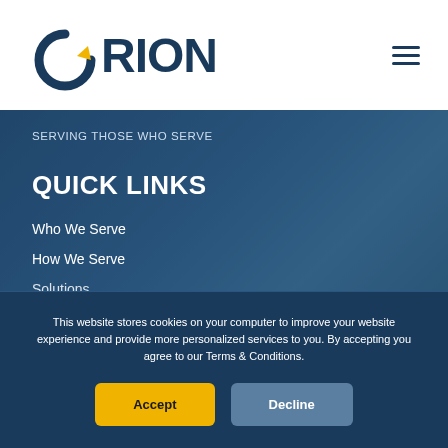[Figure (logo): Orion logo with circular arrow icon in blue and yellow and ORION text in dark navy blue]
SERVING THOSE WHO SERVE
QUICK LINKS
Who We Serve
How We Serve
Solutions
This website stores cookies on your computer to improve your website experience and provide more personalized services to you. By accepting you agree to our Terms & Conditions.
Accept
Decline